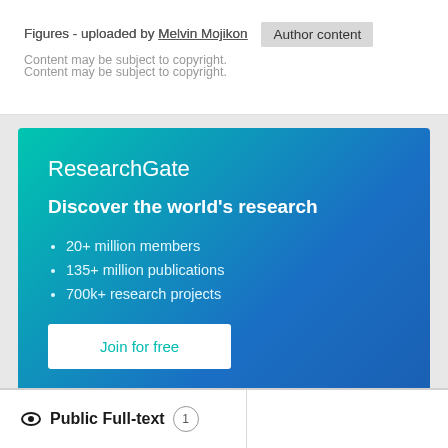Figures - uploaded by Melvin Mojikon  Author content
Content may be subject to copyright.
[Figure (infographic): ResearchGate promotional banner with gradient background (teal to blue). Contains logo text 'ResearchGate', tagline 'Discover the world's research', bullet points listing '20+ million members', '135+ million publications', '700k+ research projects', and a 'Join for free' button.]
Public Full-text  1